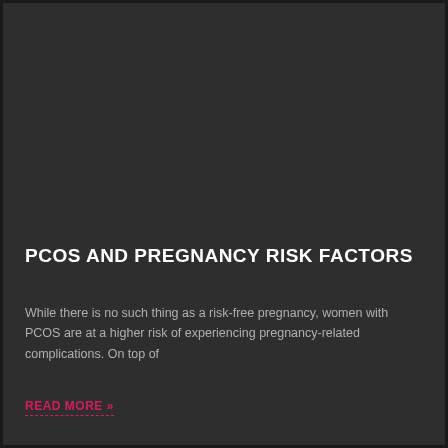[Figure (photo): Dark background image area, likely a medical or pregnancy-related photo, dark/dimly lit]
PCOS AND PREGNANCY RISK FACTORS
While there is no such thing as a risk-free pregnancy, women with PCOS are at a higher risk of experiencing pregnancy-related complications. On top of
READ MORE »